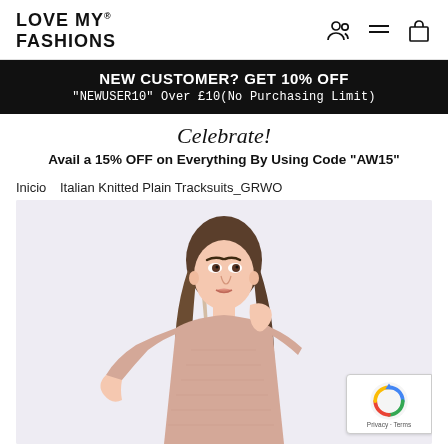LOVE MY® FASHIONS
NEW CUSTOMER? GET 10% OFF
"NEWUSER10" Over £10(No Purchasing Limit)
Celebrate!
Avail a 15% OFF on Everything By Using Code "AW15"
Inicio   Italian Knitted Plain Tracksuits_GRWO
[Figure (photo): A young woman with long brown hair wearing a pink knitted oversized top/sweater, posing against a light lavender-grey background.]